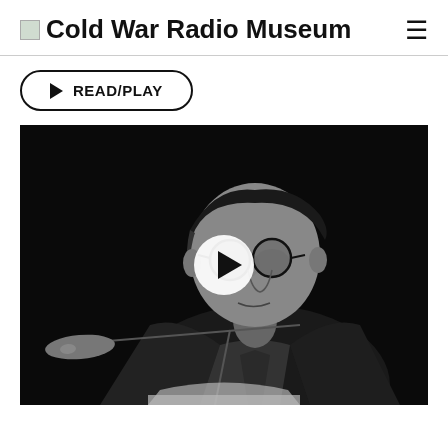Cold War Radio Museum
READ/PLAY
[Figure (photo): Black and white photograph of an older man wearing glasses and a suit, speaking at a podium with a microphone. A circular play button overlay is centered on the image.]